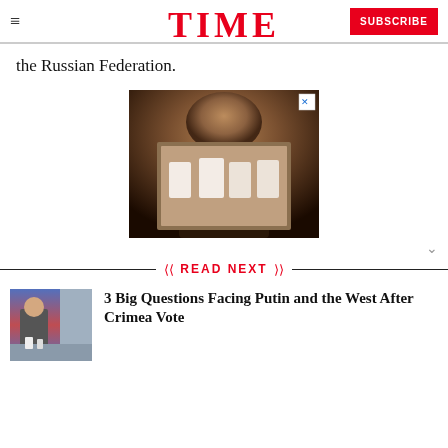TIME | SUBSCRIBE
the Russian Federation.
[Figure (photo): Advertisement photo showing a person holding a framed photograph with a close-up button in top right corner]
READ NEXT
3 Big Questions Facing Putin and the West After Crimea Vote